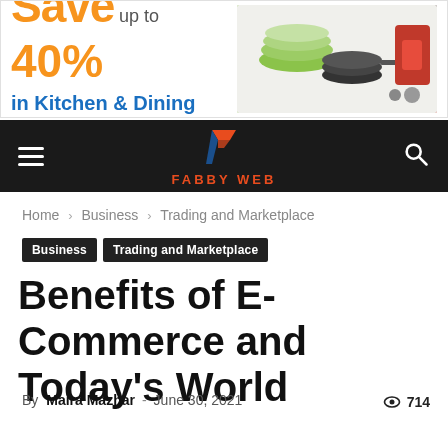[Figure (infographic): Advertising banner: 'Save up to 40% in Kitchen & Dining Every Day' with images of kitchen items including plates, pans and a red mixer]
[Figure (logo): Fabby Web website navigation bar with hamburger menu, logo (stylized F with FABBY WEB text in orange), and search icon on dark background]
Home › Business › Trading and Marketplace
Business   Trading and Marketplace
Benefits of E-Commerce and Today's World
By Maira Mazhar - June 30, 2021   👁 714